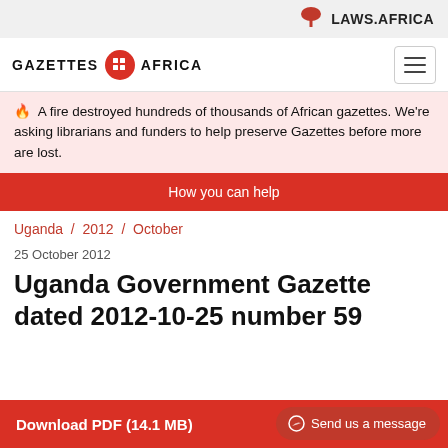LAWS.AFRICA
[Figure (logo): Gazettes Africa logo with red circle icon]
🔥 A fire destroyed hundreds of thousands of African gazettes. We're asking librarians and funders to help preserve Gazettes before more are lost.
How you can help
Uganda / 2012 / October
25 October 2012
Uganda Government Gazette dated 2012-10-25 number 59
Download PDF (14.1 MB)
Send us a message